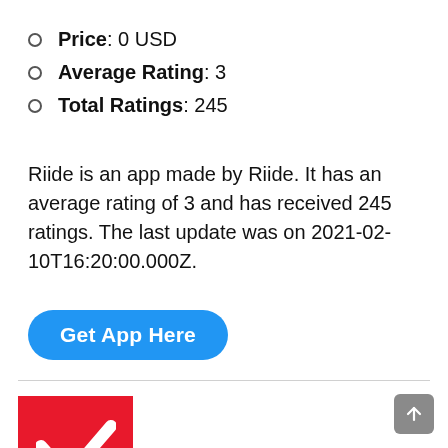Price: 0 USD
Average Rating: 3
Total Ratings: 245
Riide is an app made by Riide. It has an average rating of 3 and has received 245 ratings. The last update was on 2021-02-10T16:20:00.000Z.
Get App Here
[Figure (logo): Red square logo with a white checkmark/arrow symbol]